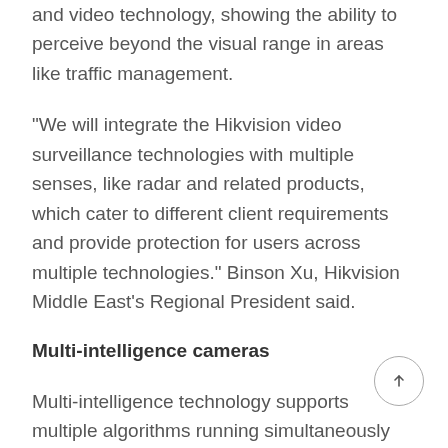and video technology, showing the ability to perceive beyond the visual range in areas like traffic management.
“We will integrate the Hikvision video surveillance technologies with multiple senses, like radar and related products, which cater to different client requirements and provide protection for users across multiple technologies.” Binson Xu, Hikvision Middle East’s Regional President said.
Multi-intelligence cameras
Multi-intelligence technology supports multiple algorithms running simultaneously on one camera. Hikvision’s latest multi-intelligence cameras can run several deep-learning algorithms in parallel for a host of complex scenarios. And at the same time,